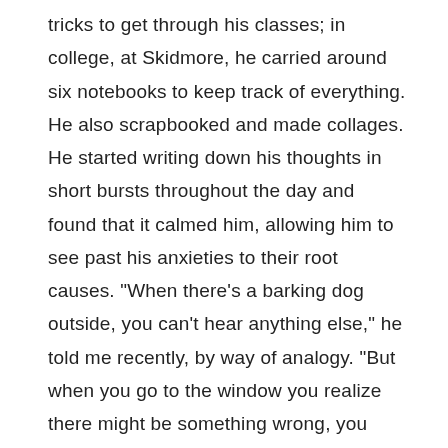tricks to get through his classes; in college, at Skidmore, he carried around six notebooks to keep track of everything. He also scrapbooked and made collages. He started writing down his thoughts in short bursts throughout the day and found that it calmed him, allowing him to see past his anxieties to their root causes. "When there's a barking dog outside, you can't hear anything else," he told me recently, by way of analogy. "But when you go to the window you realize there might be something wrong, you think about it, you get the context. It's barking at something. You actually get up and look. And, for me, writing is